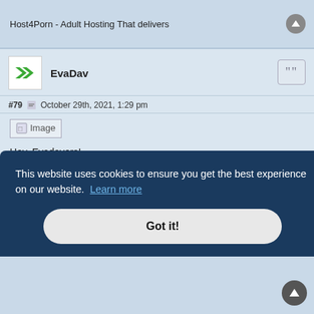Host4Porn - Adult Hosting That delivers
EvaDav
#79  October 29th, 2021, 1:29 pm
[Figure (illustration): Broken image placeholder labeled 'Image']
Hey, Evadavers!
We're thrilled to announce the launch of our brand new loyalty system. It's going to blow away advertisers.
This website uses cookies to ensure you get the best experience on our website.  Learn more
Got it!